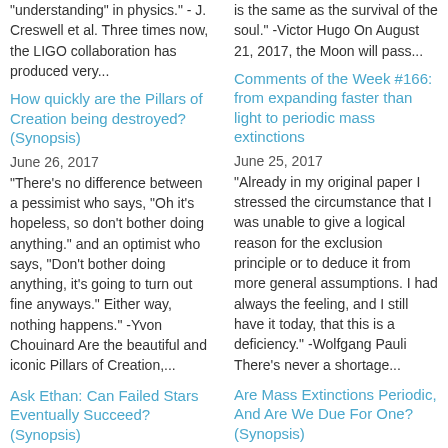"understanding" in physics." - J. Creswell et al. Three times now, the LIGO collaboration has produced very...
...is the same as the survival of the soul." -Victor Hugo On August 21, 2017, the Moon will pass...
How quickly are the Pillars of Creation being destroyed? (Synopsis)
Comments of the Week #166: from expanding faster than light to periodic mass extinctions
June 26, 2017
June 25, 2017
"There's no difference between a pessimist who says, "Oh it's hopeless, so don't bother doing anything." and an optimist who says, "Don't bother doing anything, it's going to turn out fine anyways." Either way, nothing happens." -Yvon Chouinard Are the beautiful and iconic Pillars of Creation,...
"Already in my original paper I stressed the circumstance that I was unable to give a logical reason for the exclusion principle or to deduce it from more general assumptions. I had always the feeling, and I still have it today, that this is a deficiency." -Wolfgang Pauli There's never a shortage...
Ask Ethan: Can Failed Stars Eventually Succeed? (Synopsis)
Are Mass Extinctions Periodic, And Are We Due For One? (Synopsis)